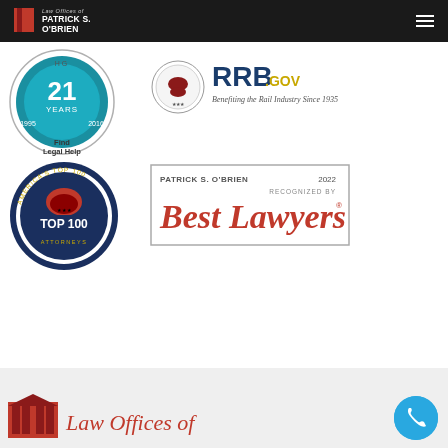Law Offices of Patrick S. O'Brien — navigation header
[Figure (logo): 21 Years badge (1995-2016) with 'Find Legal Help' text — circular seal]
[Figure (logo): RRB.GOV logo — Benefiting the Rail Industry Since 1935]
[Figure (logo): America's Top 100 Attorneys badge — circular emblem]
[Figure (logo): Patrick S. O'Brien 2022 Best Lawyers recognized by — boxed logo]
[Figure (logo): Law Offices of (text with red building logo) in footer area]